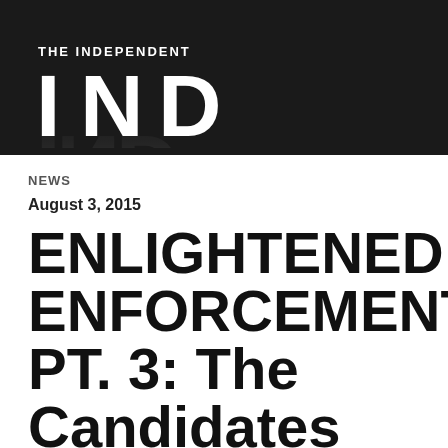[Figure (logo): The Independent newspaper logo — large stylized 'IND' letters in white on dark background with 'THE INDEPENDENT' text below]
NEWS
August 3, 2015
ENLIGHTENED ENFORCEMENT PT. 3: The Candidates